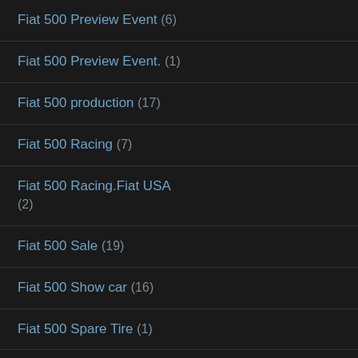Fiat 500 Preview Event (6)
Fiat 500 Preview Event. (1)
Fiat 500 production (17)
Fiat 500 Racing (7)
Fiat 500 Racing.Fiat USA (2)
Fiat 500 Sale (19)
Fiat 500 Show car (16)
Fiat 500 Spare Tire (1)
Fiat 500 Special Editions (40)
Fiat 500 Specifications (7)
Fiat 500 Specs (1)
Fiat 500 Sport (4)
Fiat 500 Stinger (1)